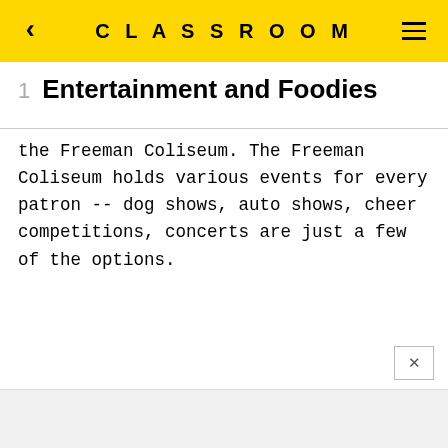CLASSROOM
1   Entertainment and Foodies
the Freeman Coliseum. The Freeman Coliseum holds various events for every patron -- dog shows, auto shows, cheer competitions, concerts are just a few of the options.